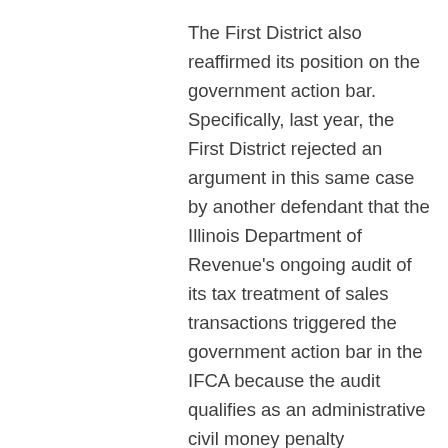The First District also reaffirmed its position on the government action bar. Specifically, last year, the First District rejected an argument in this same case by another defendant that the Illinois Department of Revenue's ongoing audit of its tax treatment of sales transactions triggered the government action bar in the IFCA because the audit qualifies as an administrative civil money penalty proceeding in which the State was already a party. (See People ex rel. Lindblom v. Sears Brands, LLC et al., No. 1-17-1468 (Ill. App. Ct)). Home Depot made the same argument here and the First District declined to